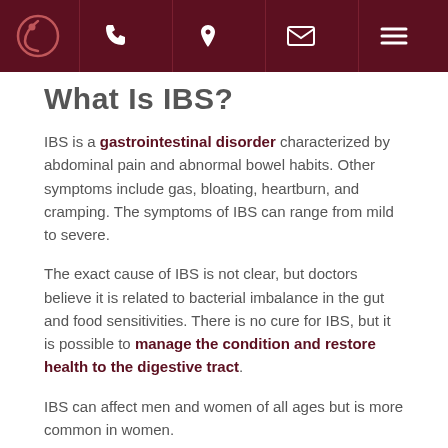[Navigation bar with logo, phone, location, email, and menu icons]
What Is IBS?
IBS is a gastrointestinal disorder characterized by abdominal pain and abnormal bowel habits. Other symptoms include gas, bloating, heartburn, and cramping. The symptoms of IBS can range from mild to severe.
The exact cause of IBS is not clear, but doctors believe it is related to bacterial imbalance in the gut and food sensitivities. There is no cure for IBS, but it is possible to manage the condition and restore health to the digestive tract.
IBS can affect men and women of all ages but is more common in women.